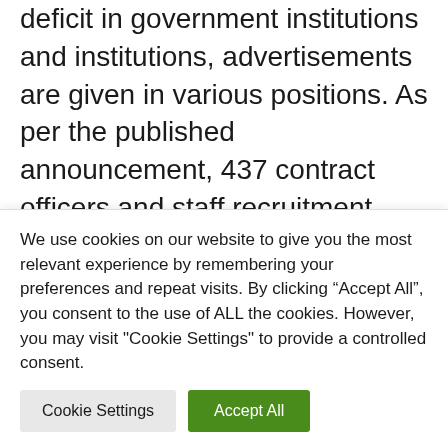deficit in government institutions and institutions, advertisements are given in various positions. As per the published announcement, 437 contract officers and staff recruitment notices have been issued in 26 government institutions. We, as the Work of Things team, will keep you informed of the public announcements made in this news.
What are the
We use cookies on our website to give you the most relevant experience by remembering your preferences and repeat visits. By clicking “Accept All”, you consent to the use of ALL the cookies. However, you may visit "Cookie Settings" to provide a controlled consent.